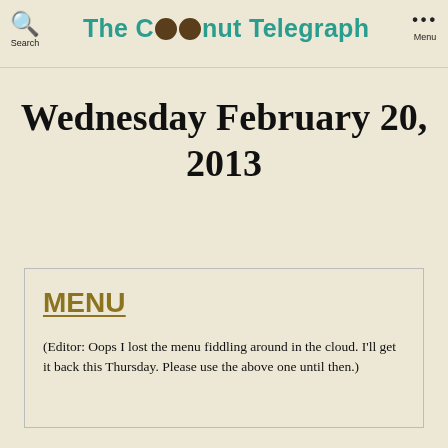Search  The Coconut Telegraph  ··· Menu
Wednesday February 20, 2013
MENU
(Editor: Oops I lost the menu fiddling around in the cloud. I'll get it back this Thursday. Please use the above one until then.)